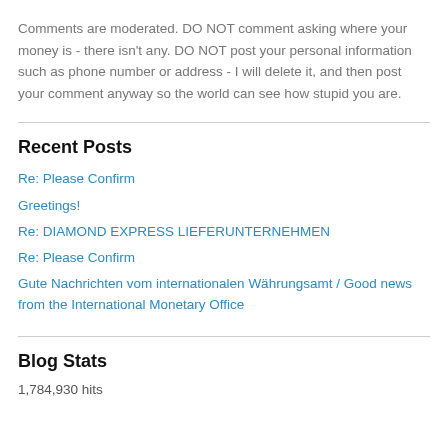Comments are moderated. DO NOT comment asking where your money is - there isn't any. DO NOT post your personal information such as phone number or address - I will delete it, and then post your comment anyway so the world can see how stupid you are.
Recent Posts
Re: Please Confirm
Greetings!
Re: DIAMOND EXPRESS LIEFERUNTERNEHMEN
Re: Please Confirm
Gute Nachrichten vom internationalen Währungsamt / Good news from the International Monetary Office
Blog Stats
1,784,930 hits